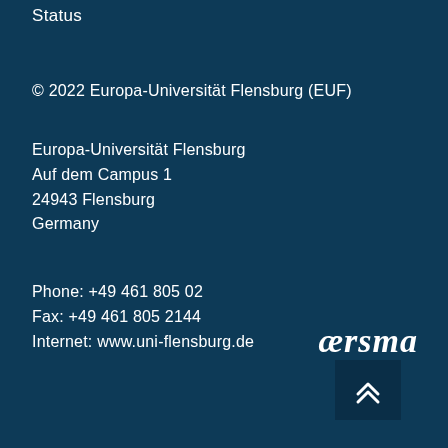Status
© 2022 Europa-Universität Flensburg (EUF)
Europa-Universität Flensburg
Auf dem Campus 1
24943 Flensburg
Germany
Phone: +49 461 805 02
Fax: +49 461 805 2144
Internet: www.uni-flensburg.de
[Figure (logo): aersma logo in italic white text with a dark blue box containing double upward chevron arrows]